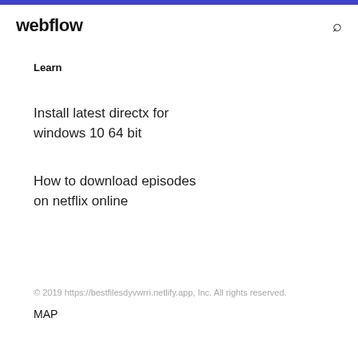webflow
Learn
Install latest directx for windows 10 64 bit
How to download episodes on netflix online
© 2019 https://bestfilesdyvwrri.netlify.app, Inc. All rights reserved.
MAP